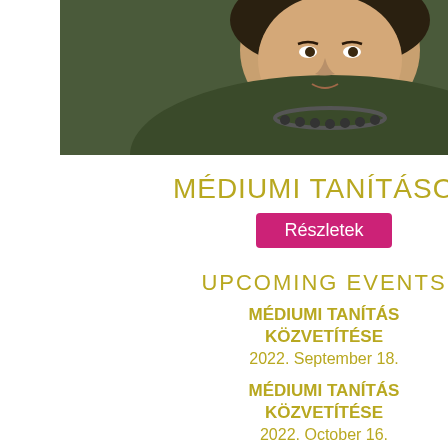[Figure (photo): Portrait photo of a woman wearing a dark jacket and necklace]
MÉDIUMI TANÍTÁSOK
Részletek
UPCOMING EVENTS
MÉDIUMI TANÍTÁS KÖZVETÍTÉSE
2022. September 18.
MÉDIUMI TANÍTÁS KÖZVETÍTÉSE
2022. October 16.
MÉDIUMI TANÍTÁS KÖZVETÍTÉSE
2022. November 13.
TOVÁBB
my freedom, the es…
gratitude.
I am happy that i ca…
through my Enlighh…
articles and worksh…
want to find their ow…
With loving heart
Zsuzsanna Hamon…